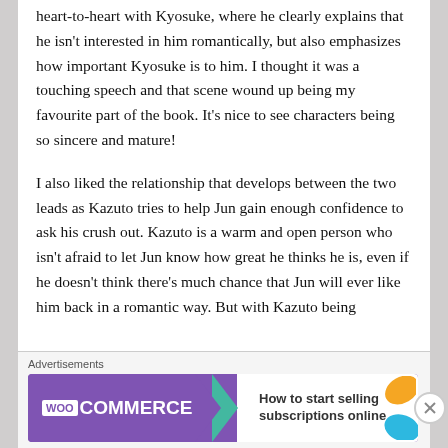heart-to-heart with Kyosuke, where he clearly explains that he isn't interested in him romantically, but also emphasizes how important Kyosuke is to him. I thought it was a touching speech and that scene wound up being my favourite part of the book. It's nice to see characters being so sincere and mature!
I also liked the relationship that develops between the two leads as Kazuto tries to help Jun gain enough confidence to ask his crush out. Kazuto is a warm and open person who isn't afraid to let Jun know how great he thinks he is, even if he doesn't think there's much chance that Jun will ever like him back in a romantic way. But with Kazuto being
Advertisements
[Figure (other): WooCommerce advertisement banner with teal arrow accent and orange/blue leaf graphics. Text reads: 'How to start selling subscriptions online']